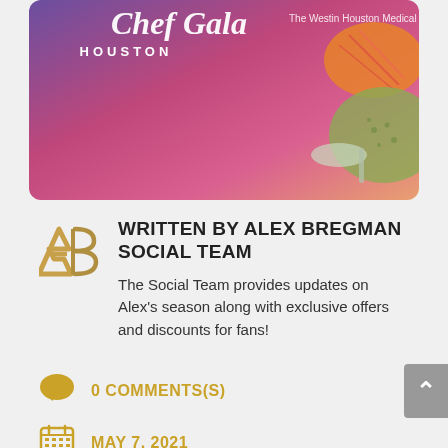[Figure (illustration): Partial view of a Chef Gala Houston event card/flyer with pink-purple gradient background, text 'Chef Gala HOUSTON' and 'The Westin Houston Medical Center', and spices in the top right corner (saffron and herbs)]
WRITTEN BY ALEX BREGMAN SOCIAL TEAM
The Social Team provides updates on Alex's season along with exclusive offers and discounts for fans!
0 COMMENTS(S)
MAY 7, 2021